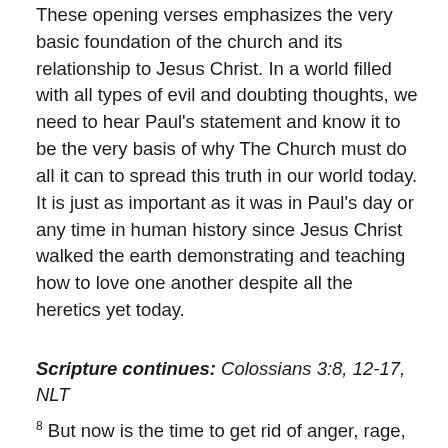These opening verses emphasizes the very basic foundation of the church and its relationship to Jesus Christ. In a world filled with all types of evil and doubting thoughts, we need to hear Paul's statement and know it to be the very basis of why The Church must do all it can to spread this truth in our world today. It is just as important as it was in Paul's day or any time in human history since Jesus Christ walked the earth demonstrating and teaching how to love one another despite all the heretics yet today.
Scripture continues: Colossians 3:8, 12-17, NLT
8 But now is the time to get rid of anger, rage, malicious behavior, slander, and dirty language. . . .
12 Since God chose you to be the holy people he loves,